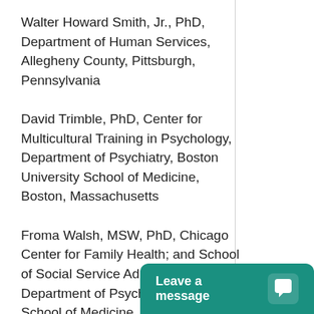Walter Howard Smith, Jr., PhD, Department of Human Services, Allegheny County, Pittsburgh, Pennsylvania
David Trimble, PhD, Center for Multicultural Training in Psychology, Department of Psychiatry, Boston University School of Medicine, Boston, Massachusetts
Froma Walsh, MSW, PhD, Chicago Center for Family Health; and School of Social Service Administration and Department of Psychiatry, Pritzker School of Medicine, University of Chicago, Chicago, Illinois